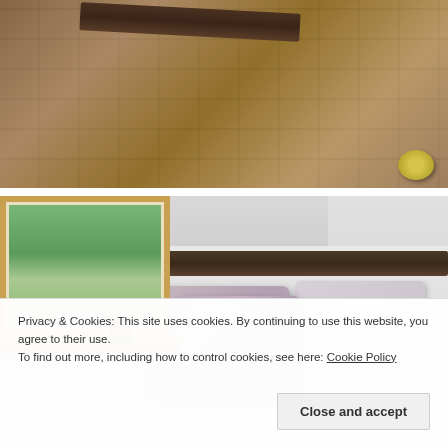[Figure (photo): Photo of a stone floor interior with rustic flagstone tiles in warm brown and terracotta tones. A wooden beam is visible at the top. A yellow tape roll sits at the bottom right corner.]
[Figure (photo): Photo of a bedroom with a wooden-framed window looking out to green grass and trees. A small plant sits on the windowsill. A bed with grey/lavender pillows and white-grey linen is visible.]
Privacy & Cookies: This site uses cookies. By continuing to use this website, you agree to their use.
To find out more, including how to control cookies, see here: Cookie Policy
Close and accept